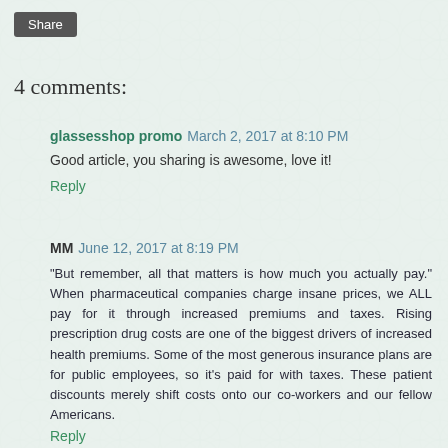[Figure (other): Decorative teal/mint floral petal tile background pattern]
Share
4 comments:
glassesshop promo  March 2, 2017 at 8:10 PM
Good article, you sharing is awesome, love it!
Reply
MM  June 12, 2017 at 8:19 PM
"But remember, all that matters is how much you actually pay." When pharmaceutical companies charge insane prices, we ALL pay for it through increased premiums and taxes. Rising prescription drug costs are one of the biggest drivers of increased health premiums. Some of the most generous insurance plans are for public employees, so it's paid for with taxes. These patient discounts merely shift costs onto our co-workers and our fellow Americans.
Reply